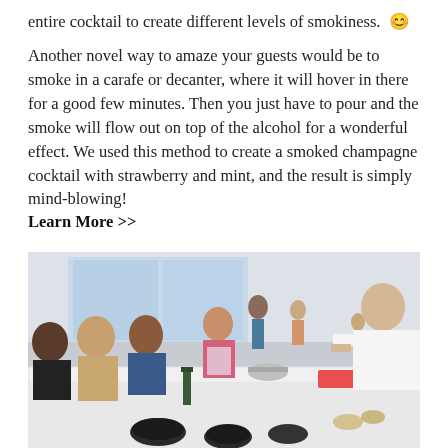entire cocktail to create different levels of smokiness. 😊
Another novel way to amaze your guests would be to smoke in a carafe or decanter, where it will hover in there for a good few minutes. Then you just have to pour and the smoke will flow out on top of the alcohol for a wonderful effect. We used this method to create a smoked champagne cocktail with strawberry and mint, and the result is simply mind-blowing!
Learn More >>
[Figure (photo): A cooking class scene with a chef in a white coat demonstrating at a long white counter filled with ingredients and kitchen equipment, while a group of attendees watches and interacts. The room is bright with large windows.]